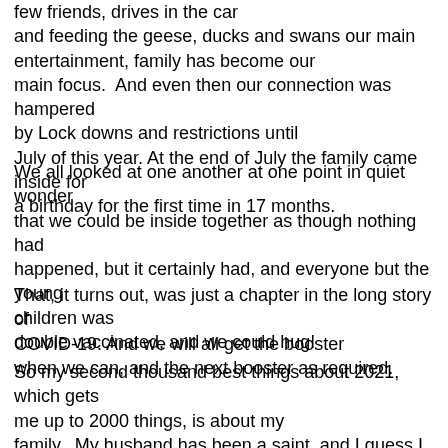few friends, drives in the car and feeding the geese, ducks and swans our main entertainment, family has become our main focus.  And even then our connection was hampered by Lock downs and restrictions until July of this year. At the end of July the family came inside for a birthday for the first time in 17 months.
We all looked at one another at one point in quiet wonder that we could be inside together as though nothing had happened, but it certainly had, and everyone but the young children was double vaccinated, and we could hug!
That, it turns out, was just a chapter in the long story of COVID-19. And we will all get the booster when we can, and the next booster as required.
So my second thousand best things about 2021, which gets me up to 2000 things, is about my family.  My husband has been a saint, and I guess I fall into that category too.  We have been